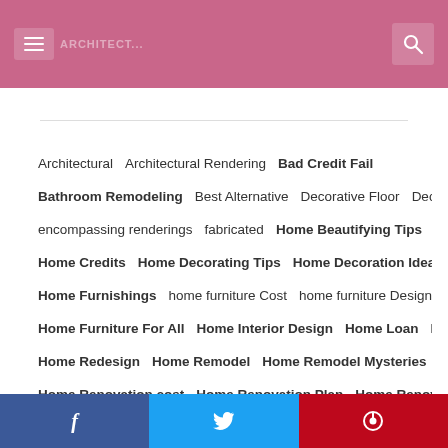Architecture site header with menu and search icons
Architectural
Architectural Rendering
Bad Credit Fail
Bathroom Remodeling
Best Alternative
Decorative Floor
Decor Tips
encompassing renderings
fabricated
Home Beautifying Tips
Home Credits
Home Decorating Tips
Home Decoration Idea
Home Furnishings
home furniture Cost
home furniture Design
Home Furniture For All
Home Interior Design
Home Loan
Home Loan Tips
Home Redesign
Home Remodel
Home Remodel Mysteries
Home Renovation cost
Home Renovation Plan
Home Renovation Services
Improvement
Interior Design
Interior Design BUdget
Interior Design Cost
Interior Design Tips
Office Interior Design
Own Bathroom Remodeling
period loaning
produced building
Remodeling Check List
Remodeling Cost
Season Memorable
Structural delivering
Trends in Bathroom
USDA credits
Washroom Redesigning
Facebook  Twitter  Pinterest